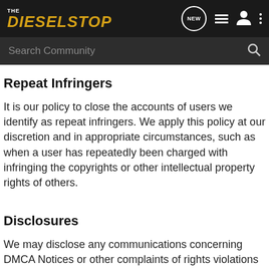THE DIESELSTOP | Navigation: NEW, list, user, menu | Search Community
Repeat Infringers
It is our policy to close the accounts of users we identify as repeat infringers. We apply this policy at our discretion and in appropriate circumstances, such as when a user has repeatedly been charged with infringing the copyrights or other intellectual property rights of others.
Disclosures
We may disclose any communications concerning DMCA Notices or other complaints of rights violations with third parties, including the affected users, the rights holders, and third party databases that collect information on DMCA Notices.